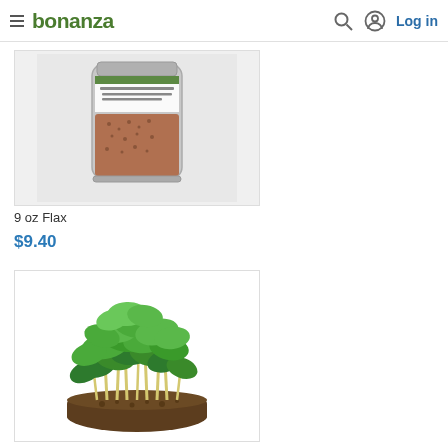bonanza — Log in
[Figure (photo): Photo of a cylindrical glass jar/container filled with flax seeds, with a label on it, viewed from the side. Product: 9 oz Flax.]
9 oz Flax
$9.40
[Figure (photo): Photo of a lush green microgreens/sprouts plant cluster growing from a soil block, with bright green leaves and yellow-white stems, on a white background.]